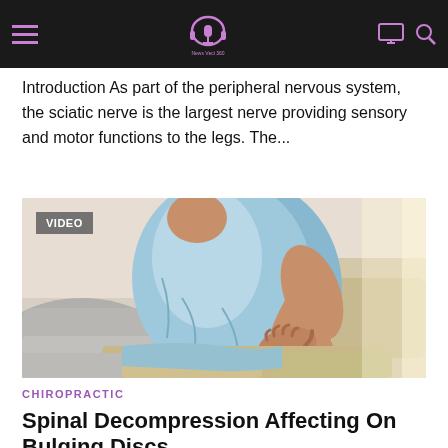News Veci 360
Introduction As part of the peripheral nervous system, the sciatic nerve is the largest nerve providing sensory and motor functions to the legs. The...
[Figure (photo): Person sitting on a couch wearing a light blue shirt, reaching back with one hand to hold their lower back, suggesting back pain.]
CHIROPRACTIC
Spinal Decompression Affecting On Bulging Discs